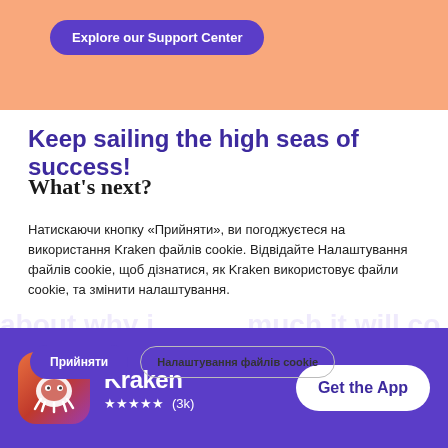[Figure (screenshot): Salmon/orange top band background]
Explore our Support Center
Keep sailing the high seas of success!
What's next?
Натискаючи кнопку «Прийняти», ви погоджуєтеся на використання Kraken файлів cookie. Відвідайте Налаштування файлів cookie, щоб дізнатися, як Kraken використовує файли cookie, та змінити налаштування.
Прийняти
Налаштування файлів cookie
Kraken
★★★★★ (3k)
Get the App